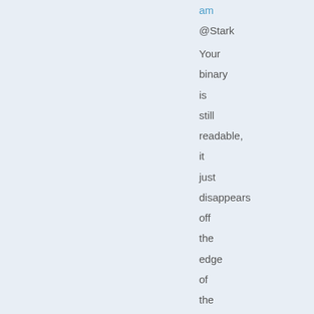am
@Stark
Your binary is still readable, it just disappears off the edge of the screen and results in a (gasp!)